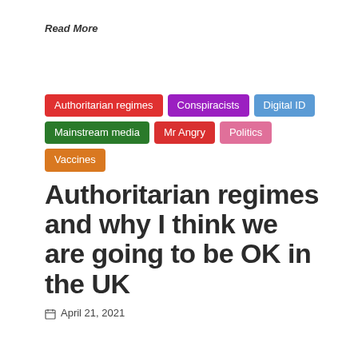Read More
Authoritarian regimes
Conspiracists
Digital ID
Mainstream media
Mr Angry
Politics
Vaccines
Authoritarian regimes and why I think we are going to be OK in the UK
April 21, 2021